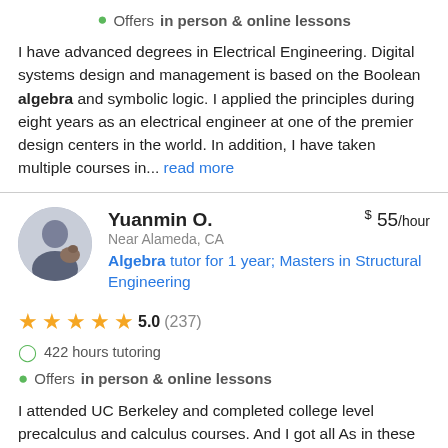Offers in person & online lessons
I have advanced degrees in Electrical Engineering. Digital systems design and management is based on the Boolean algebra and symbolic logic. I applied the principles during eight years as an electrical engineer at one of the premier design centers in the world. In addition, I have taken multiple courses in... read more
Yuanmin O.
$ 55/hour
Near Alameda, CA
Algebra tutor for 1 year; Masters in Structural Engineering
5.0 (237)
422 hours tutoring
Offers in person & online lessons
I attended UC Berkeley and completed college level precalculus and calculus courses. And I got all As in these courses. After